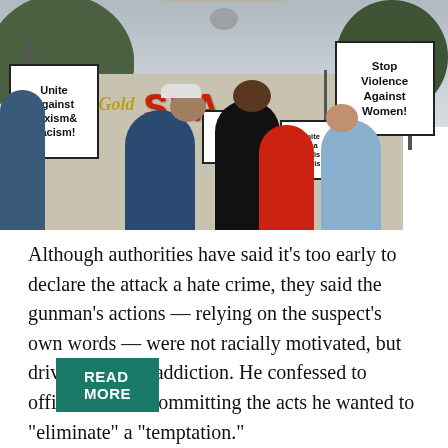[Figure (photo): Protesters outside Gold Spa holding signs reading 'Unite Against Sexism & Racism!' and 'Stop Violence Against Women!' among others, with crowd gathered in front of the spa building.]
Although authorities have said it's too early to declare the attack a hate crime, they said the gunman's actions — relying on the suspect's own words — were not racially motivated, but driven by a sex addiction. He confessed to officers that in committing the acts he wanted to "eliminate" a "temptation."
READ MORE